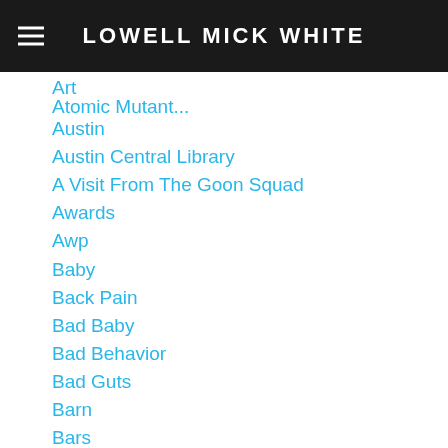LOWELL MICK WHITE
Austin
Austin Central Library
A Visit From The Goon Squad
Awards
Awp
Baby
Back Pain
Bad Baby
Bad Behavior
Bad Guts
Barn
Bars
Baseball
Basketball
Beatest State
Beer
Bergstrom